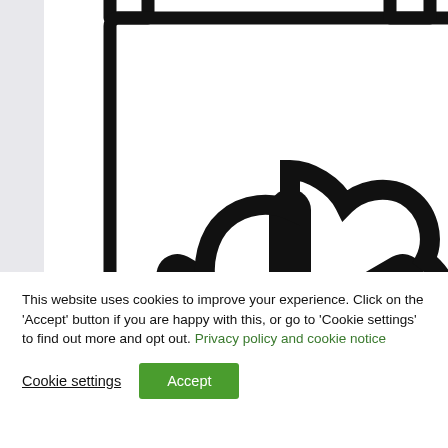[Figure (illustration): A black and white line-art icon of a clipboard with an asterisk/snowflake-like star symbol in the center, partially cropped at the bottom. The clipboard has a tab at the top and a double-border on the right side. Background is light gray.]
This website uses cookies to improve your experience. Click on the 'Accept' button if you are happy with this, or go to 'Cookie settings' to find out more and opt out. Privacy policy and cookie notice
Cookie settings
Accept